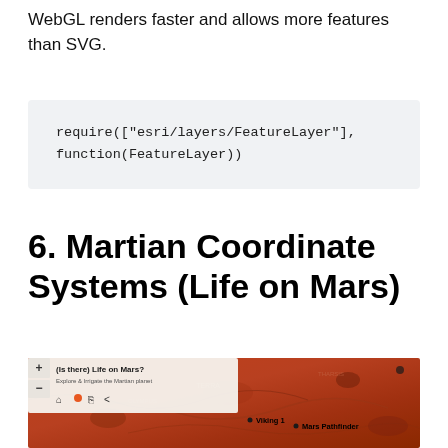WebGL renders faster and allows more features than SVG.
require(["esri/layers/FeatureLayer"],
function(FeatureLayer))
6. Martian Coordinate Systems (Life on Mars)
[Figure (screenshot): Screenshot of a web map application titled '(Is there) Life on Mars?' showing the Martian surface with labeled landmarks including Viking 1 and Mars Pathfinder, with navigation controls at top left.]